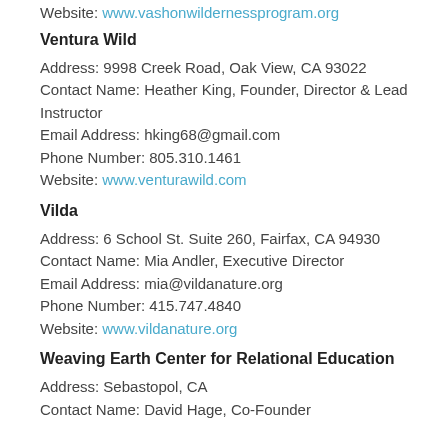Website: www.vashonwildernessprogram.org
Ventura Wild
Address: 9998 Creek Road, Oak View, CA 93022
Contact Name: Heather King, Founder, Director & Lead Instructor
Email Address: hking68@gmail.com
Phone Number: 805.310.1461
Website: www.venturawild.com
Vilda
Address: 6 School St. Suite 260, Fairfax, CA 94930
Contact Name: Mia Andler, Executive Director
Email Address: mia@vildanature.org
Phone Number: 415.747.4840
Website: www.vildanature.org
Weaving Earth Center for Relational Education
Address: Sebastopol, CA
Contact Name: David Hage, Co-Founder